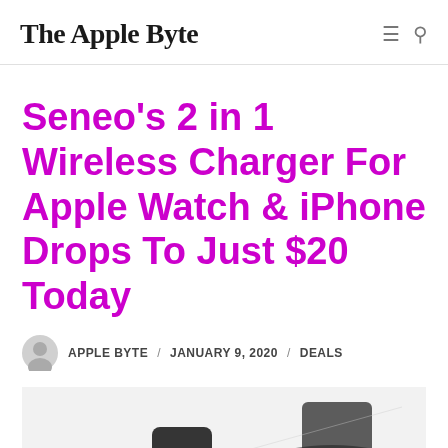The Apple Byte
Seneo's 2 in 1 Wireless Charger For Apple Watch & iPhone Drops To Just $20 Today
APPLE BYTE / JANUARY 9, 2020 / DEALS
[Figure (photo): Photo of a wireless charger product, partially visible at the bottom of the page]